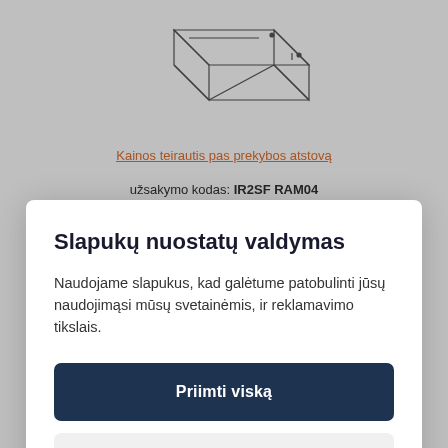[Figure (illustration): Technical line drawing / schematic of a frame or rack component, partially visible at the top of the page]
Kainos teirautis pas prekybos atstovą
užsakymo kodas: IR2SF RAM04
Slapukų nuostatų valdymas
Naudojame slapukus, kad galėtume patobulinti jūsų naudojimąsi mūsų svetainėmis, ir reklamavimo tikslais.
Priimti viską
Slapukų valdymas